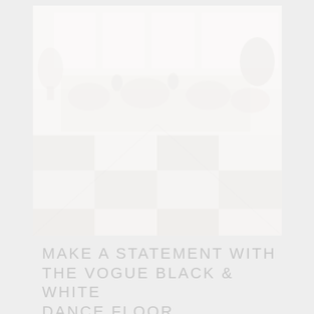[Figure (photo): A very faded/washed-out photograph of an elegant event venue or ballroom with a black and white checkered dance floor in the foreground and tables with white linens and plants/floral arrangements in the background. The image is extremely light/bleached.]
MAKE A STATEMENT WITH THE VOGUE BLACK & WHITE DANCE FLOOR